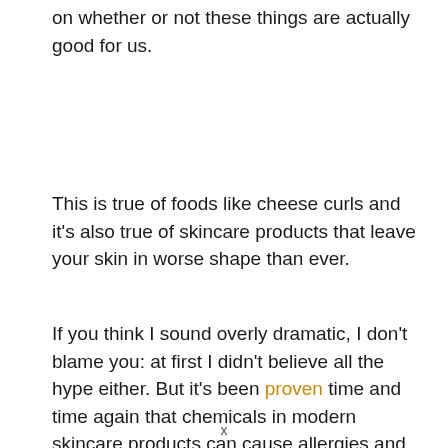on whether or not these things are actually good for us.
This is true of foods like cheese curls and it’s also true of skincare products that leave your skin in worse shape than ever.
If you think I sound overly dramatic, I don’t blame you: at first I didn’t believe all the hype either. But it’s been proven time and time again that chemicals in modern skincare products can cause allergies and other skin issues.
x